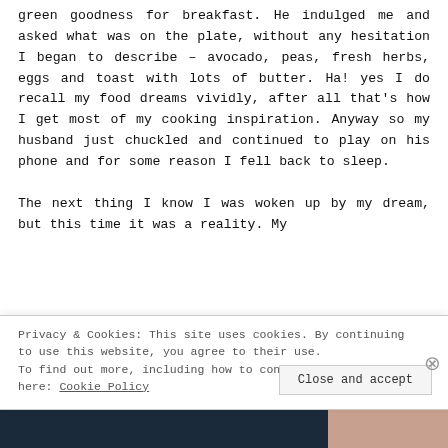green goodness for breakfast. He indulged me and asked what was on the plate, without any hesitation I began to describe – avocado, peas, fresh herbs, eggs and toast with lots of butter. Ha! yes I do recall my food dreams vividly, after all that's how I get most of my cooking inspiration. Anyway so my husband just chuckled and continued to play on his phone and for some reason I fell back to sleep.

The next thing I know I was woken up by my dream, but this time it was a reality. My
Privacy & Cookies: This site uses cookies. By continuing to use this website, you agree to their use.
To find out more, including how to control cookies, see here: Cookie Policy

Close and accept